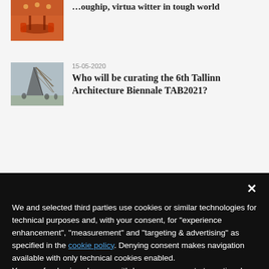[Figure (photo): Thumbnail image of a restaurant interior with red/orange tones, bar seating visible]
world
[Figure (photo): Thumbnail image of an architecture biennale installation with tower/net structure]
15-05-2020
Who will be curating the 6th Tallinn Architecture Biennale TAB2021?
We and selected third parties use cookies or similar technologies for technical purposes and, with your consent, for “experience enhancement”, “measurement” and “targeting & advertising” as specified in the cookie policy. Denying consent makes navigation available with only technical cookies enabled.
You can freely give, deny, or withdraw your consent at any time by accessing the preferences panel in the footer of the website.
Reject
Accept
Learn more and customise